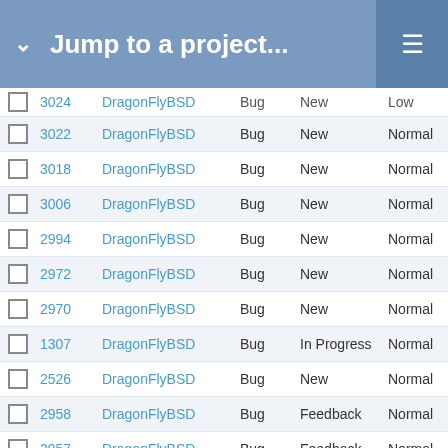Jump to a project...
|  | # | Project | Type | Status | Priority | Subject |
| --- | --- | --- | --- | --- | --- | --- |
|  | 3024 | DragonFlyBSD | Bug | New | Low | Redu... |
|  | 3022 | DragonFlyBSD | Bug | New | Normal | sys/de bitmask... |
|  | 3018 | DragonFlyBSD | Bug | New | Normal | sys/bu Redu... |
|  | 3006 | DragonFlyBSD | Bug | New | Normal | boot0... _udev Virtual... |
|  | 2994 | DragonFlyBSD | Bug | New | Normal | Interm HAMM... |
|  | 2972 | DragonFlyBSD | Bug | New | Normal | ipfw3... |
|  | 2970 | DragonFlyBSD | Bug | New | Normal | kernel filesys... |
|  | 1307 | DragonFlyBSD | Bug | In Progress | Normal | hamm... |
|  | 2526 | DragonFlyBSD | Bug | New | Normal | hamm DST |
|  | 2958 | DragonFlyBSD | Bug | Feedback | Normal | Hamn write l... |
|  | 2957 | DragonFlyBSD | Bug | Feedback | Normal | swapo your s... |
|  | 2915 | DragonFlyBSD | Bug | New | High | Hamn... |